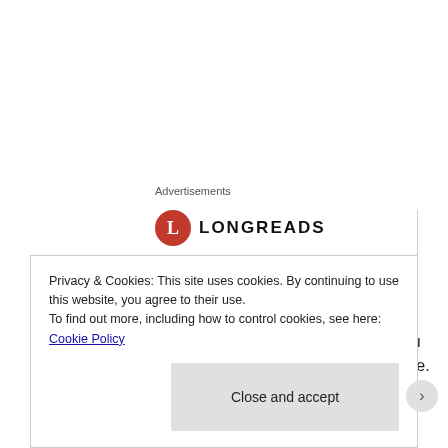Advertisements
[Figure (logo): Longreads logo: red circle with white letter L, followed by 'LONGREADS' in bold capitals]
Bringing you the best
Check out the video below! Let me know what you think about this song because I think it is incredible.
Privacy & Cookies: This site uses cookies. By continuing to use this website, you agree to their use.
To find out more, including how to control cookies, see here: Cookie Policy
Close and accept